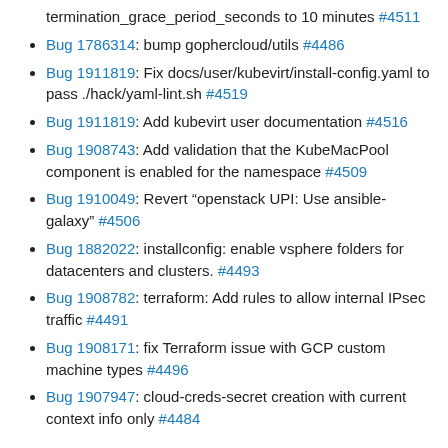termination_grace_period_seconds to 10 minutes #4511
Bug 1786314: bump gophercloud/utils #4486
Bug 1911819: Fix docs/user/kubevirt/install-config.yaml to pass ./hack/yaml-lint.sh #4519
Bug 1911819: Add kubevirt user documentation #4516
Bug 1908743: Add validation that the KubeMacPool component is enabled for the namespace #4509
Bug 1910049: Revert “openstack UPI: Use ansible-galaxy” #4506
Bug 1882022: installconfig: enable vsphere folders for datacenters and clusters. #4493
Bug 1908782: terraform: Add rules to allow internal IPsec traffic #4491
Bug 1908171: fix Terraform issue with GCP custom machine types #4496
Bug 1907947: cloud-creds-secret creation with current context info only #4484